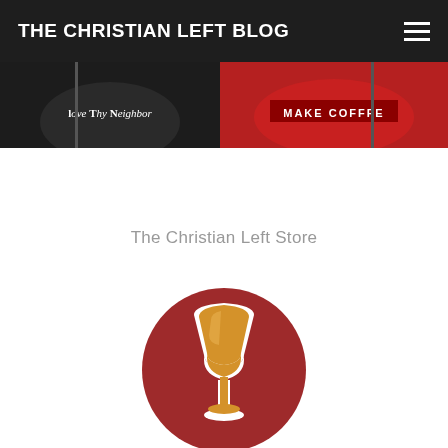THE CHRISTIAN LEFT BLOG
[Figure (photo): Banner image showing two t-shirts: a dark shirt with 'Love Thy Neighbor' text on the left, and a red shirt with 'MAKE COFFEE' text on the right]
The Christian Left Store
[Figure (logo): The Christian Left circular logo featuring a golden chalice/goblet on a dark red circular background with a registered trademark symbol]